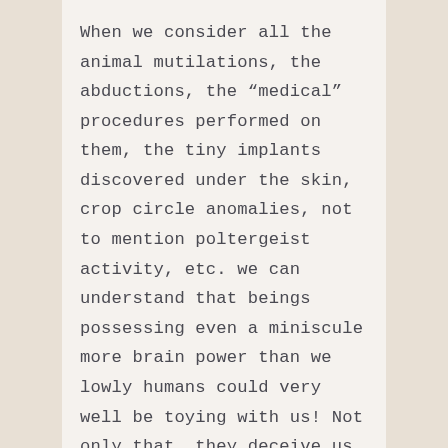When we consider all the animal mutilations, the abductions, the “medical” procedures performed on them, the tiny implants discovered under the skin, crop circle anomalies, not to mention poltergeist activity, etc. we can understand that beings possessing even a miniscule more brain power than we lowly humans could very well be toying with us! Not only that, they deceive us easily because they are thousands of years old, having become experts in understanding the human mind, how we think and react. I would go so far as to say ALL negative